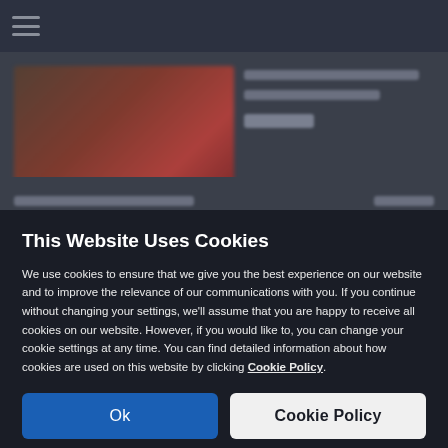[Figure (screenshot): Blurred background showing a website with a dark navigation bar, a product image (reddish/brown tones), and blurred text lines and prices]
This Website Uses Cookies
We use cookies to ensure that we give you the best experience on our website and to improve the relevance of our communications with you. If you continue without changing your settings, we'll assume that you are happy to receive all cookies on our website. However, if you would like to, you can change your cookie settings at any time. You can find detailed information about how cookies are used on this website by clicking Cookie Policy.